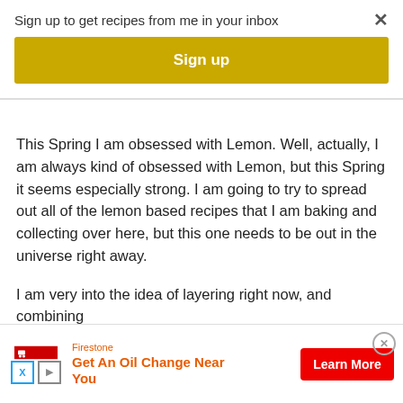Sign up to get recipes from me in your inbox
Sign up
This Spring I am obsessed with Lemon. Well, actually, I am always kind of obsessed with Lemon, but this Spring it seems especially strong. I am going to try to spread out all of the lemon based recipes that I am baking and collecting over here, but this one needs to be out in the universe right away.
I am very into the idea of layering right now, and combining different... s two lovely s... combine...
[Figure (screenshot): Firestone advertisement banner at bottom of page. Shows Firestone logo, icons for X and play button, headline 'Get An Oil Change Near You' in orange/red, and a red 'Learn More' button. Close button (X in circle) on the right.]